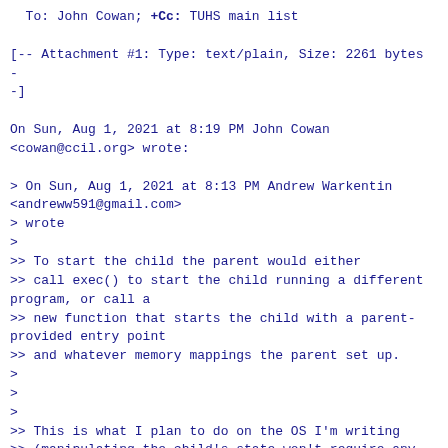To: John Cowan; +Cc: TUHS main list
[-- Attachment #1: Type: text/plain, Size: 2261 bytes --]
On Sun, Aug 1, 2021 at 8:19 PM John Cowan <cowan@ccil.org> wrote:
> On Sun, Aug 1, 2021 at 8:13 PM Andrew Warkentin <andreww591@gmail.com>
> wrote
>
>> To start the child the parent would either
>> call exec() to start the child running a different program, or call a
>> new function that starts the child with a parent-provided entry point
>> and whatever memory mappings the parent set up.
>
>
>
>> This is what I plan to do on the OS I'm writing
>> (manipulating the child's state won't require any additional
>> primitives beyond regular file I/O since literally all process state
>> will have a file-based interface).
>>
>
> In that case you don't need *any* primitive except